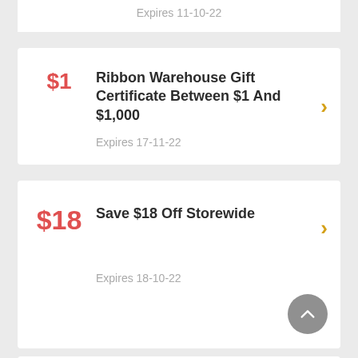Expires 11-10-22
$1
Ribbon Warehouse Gift Certificate Between $1 And $1,000
Expires 17-11-22
$18
Save $18 Off Storewide
Expires 18-10-22
$0
Save $0 ON Ribbon Warehouse Enti...